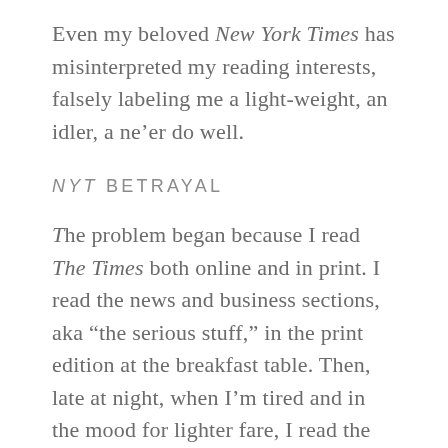Even my beloved New York Times has misinterpreted my reading interests, falsely labeling me a light-weight, an idler, a ne’er do well.
NYT BETRAYAL
The problem began because I read The Times both online and in print. I read the news and business sections, aka “the serious stuff,” in the print edition at the breakfast table. Then, late at night, when I’m tired and in the mood for lighter fare, I read the Style, Entertainment, and Food sections